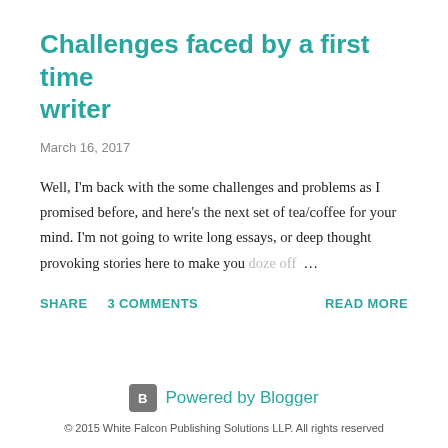Challenges faced by a first time writer
March 16, 2017
Well, I'm back with the some challenges and problems as I promised before, and here's the next set of tea/coffee for your mind. I'm not going to write long essays, or deep thought provoking stories here to make you doze off…
SHARE
3 COMMENTS
READ MORE
Powered by Blogger
© 2015 White Falcon Publishing Solutions LLP. All rights reserved